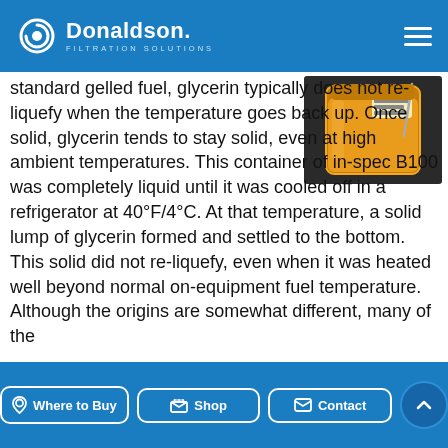Donaldson Filtration Solutions
[Figure (photo): A glass jar containing orange/yellow liquid biodiesel (B100) with a label, sitting in a dark tray. The liquid is clear-colored indicating dissolved glycerin.]
standard gelled fuel, glycerin typically does not re-liquefy when the temperature goes back up. Once solid, glycerin tends to stay solid, even at high ambient temperatures. This container of in-spec B100 was completely liquid until it was cooled off in a refrigerator at 40°F/4°C. At that temperature, a solid lump of glycerin formed and settled to the bottom. This solid did not re-liquefy, even when it was heated well beyond normal on-equipment fuel temperature. Although the origins are somewhat different, many of the
Where to Buy | Shop | Contact